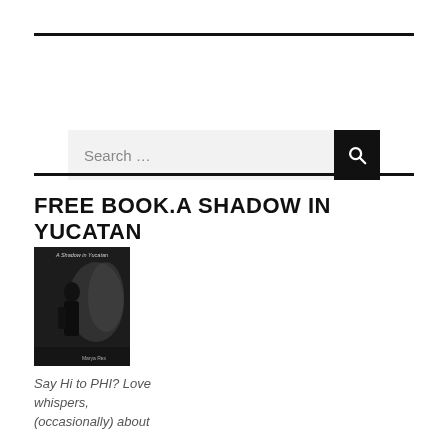[Figure (other): Search bar with text input field showing 'Search ...' placeholder and a black button with a magnifying glass icon]
FREE BOOK.A SHADOW IN YUCATAN
[Figure (photo): Book cover of 'A Shadow in Yucatan' showing a dark silhouette figure against a misty background]
Say Hi to PHI? Love whispers, (occasionally) about